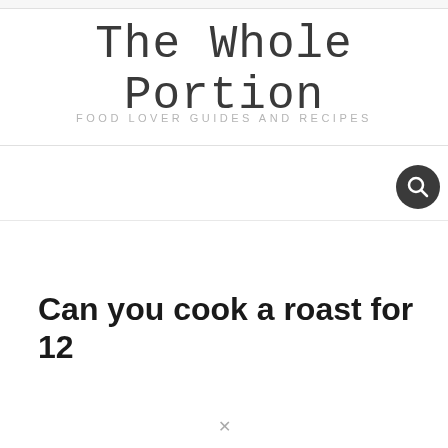The Whole Portion
FOOD LOVER GUIDES AND RECIPES
[Figure (other): Search icon button — dark circular button with a magnifying glass icon]
Can you cook a roast for 12